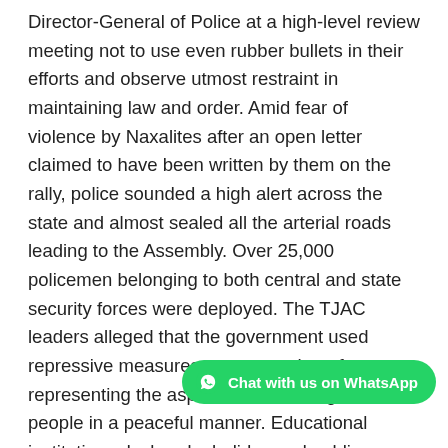Director-General of Police at a high-level review meeting not to use even rubber bullets in their efforts and observe utmost restraint in maintaining law and order. Amid fear of violence by Naxalites after an open letter claimed to have been written by them on the rally, police sounded a high alert across the state and almost sealed all the arterial roads leading to the Assembly. Over 25,000 policemen belonging to both central and state security forces were deployed. The TJAC leaders alleged that the government used repressive measures to prevent them from representing the aspirations of Telangana people in a peaceful manner. Educational institutions declared a holiday and public transport went off the roads and shops and establishments shut as a precautionary measure.
On the day of the event in spite of the restrictions placed police could not totally prevent Telangana activists from speaking into prime locations and making a vain bid to